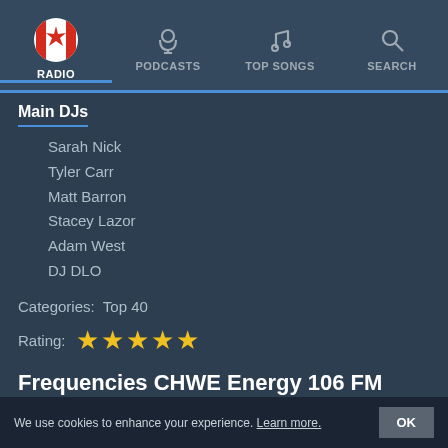[Figure (screenshot): Navigation bar with RADIO (active, Canadian flag icon), PODCASTS (headphone icon), TOP SONGS (music note icon), SEARCH (magnifier icon)]
Main DJs
Sarah Nick
Tyler Carr
Matt Barron
Stacey Lazor
Adam West
DJ DLO
Categories:  Top 40
Rating: ★★★★★
Frequencies CHWE Energy 106 FM
Winnipeg: 106.1 FM
Top Songs
We use cookies to enhance your experience. Learn more.